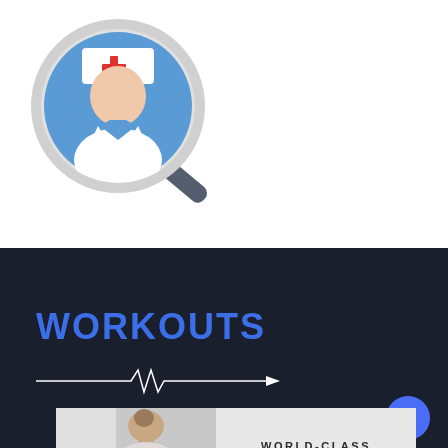[Figure (illustration): A magnifying glass icon with a nurse/doctor avatar inside a circular blue background. The figure shows a flat-design medical professional with a white nurse cap bearing a red cross, a peach/skin-toned face, and a white coat with a blue collar. The magnifying glass handle is dark gray pointing bottom-right.]
WORKOUTS
[Figure (illustration): A white heartbeat/EKG line with an arrow pointing right, on a dark navy background.]
[Figure (photo): A partial photo showing a woman with hair in a bun, from behind, in what appears to be a studio or gym setting with light coming from a window.]
WORLD-CLASS STUDIO WORKOUTS